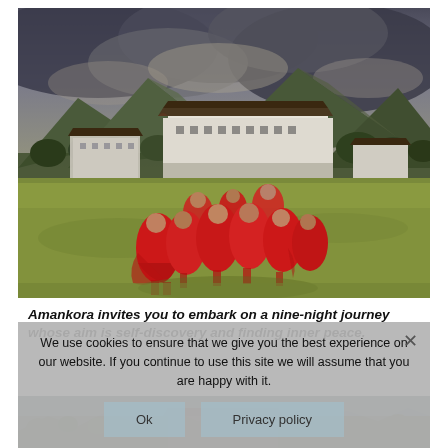[Figure (photo): Group of young Buddhist monks in red robes running/walking across a green field with a large traditional Bhutanese dzong (fortress-monastery) and mountains in the background under dramatic cloudy sky]
Amankora invites you to embark on a nine-night journey whose aim is self-discovery and finding inner peace.
We use cookies to ensure that we give you the best experience on our website. If you continue to use this site we will assume that you are happy with it.
[Figure (photo): Bottom strip showing a partial view of a traditional Bhutanese building/landscape]